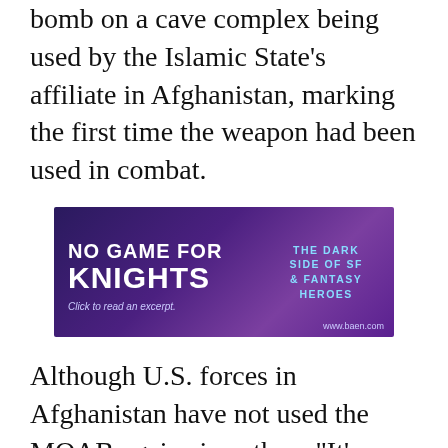bomb on a cave complex being used by the Islamic State’s affiliate in Afghanistan, marking the first time the weapon had been used in combat.
[Figure (other): Advertisement for 'No Game for Knights: The Dark Side of SF & Fantasy Heroes' book. Purple/dark background with bold white text and cyan subtitle text. Includes 'Click to read an excerpt.' and 'www.baen.com']
Although U.S. forces in Afghanistan have not used the MOAB again since then, “It’s there if we need it,” said Air Force Maj. Gen. James Hecker, commander of coalition air forces in Afghanistan.